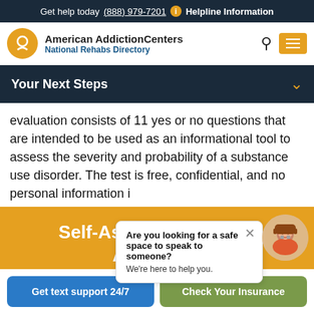Get help today (888) 979-7201  i  Helpline Information
[Figure (logo): American Addiction Centers - National Rehabs Directory logo with golden circle icon and text]
Your Next Steps
evaluation consists of 11 yes or no questions that are intended to be used as an informational tool to assess the severity and probability of a substance use disorder. The test is free, confidential, and no personal information i
Are you looking for a safe space to speak to someone?
We're here to help you.
Self-Assessment: Am I Addicted?
Get text support 24/7
Check Your Insurance